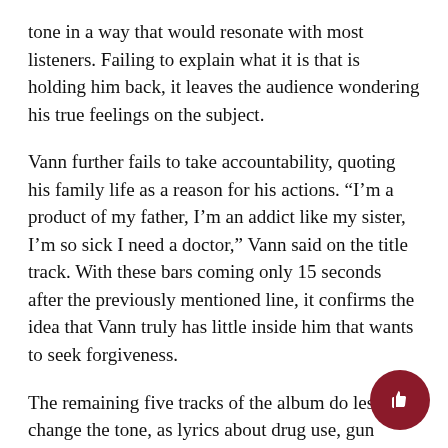tone in a way that would resonate with most listeners. Failing to explain what it is that is holding him back, it leaves the audience wondering his true feelings on the subject.
Vann further fails to take accountability, quoting his family life as a reason for his actions. “I’m a product of my father, I’m an addict like my sister, I’m so sick I need a doctor,” Vann said on the title track. With these bars coming only 15 seconds after the previously mentioned line, it confirms the idea that Vann truly has little inside him that wants to seek forgiveness.
The remaining five tracks of the album do less to change the tone, as lyrics about drug use, gun violence and depression continue to seep into the listeners’ ears.
Even after the bars about his past, the boldest claim that Vann makes is that BROCKHAMPTON is at a deficit